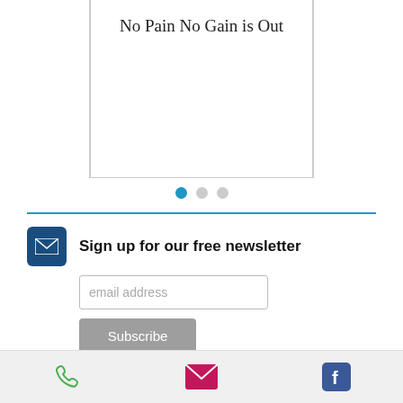[Figure (screenshot): Card/slide showing text 'No Pain No Gain is Out' with navigation dots below]
Sign up for our free newsletter
email address
Subscribe
Two Locations
West Orange, NJ
Palm Beach, FL
Contact Us At
caroljmichaels@gmail.com
201.704.5700
[Figure (screenshot): Bottom navigation bar with phone, email, and Facebook icons]